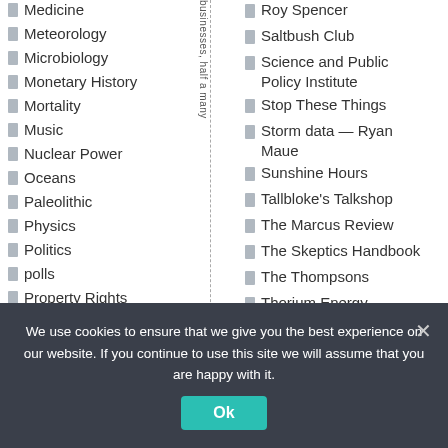Medicine
Meteorology
Microbiology
Monetary History
Mortality
Music
Nuclear Power
Oceans
Paleolithic
Physics
Politics
polls
Property Rights
Protests
Pseudoscience
Roy Spencer
Saltbush Club
Science and Public Policy Institute
Stop These Things
Storm data — Ryan Maue
Sunshine Hours
Tallbloke's Talkshop
The Marcus Review
The Skeptics Handbook
The Thompsons
Thorium Energy Solutions
Tim Blair
We use cookies to ensure that we give you the best experience on our website. If you continue to use this site we will assume that you are happy with it.